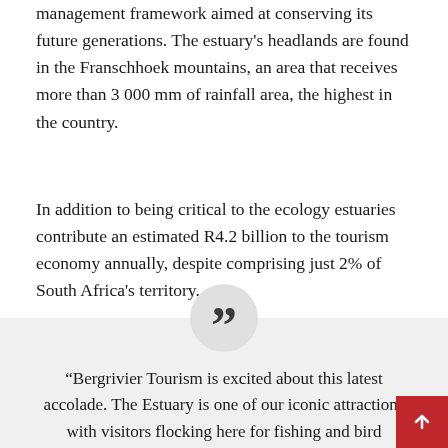management framework aimed at conserving its future generations. The estuary's headlands are found in the Franschhoek mountains, an area that receives more than 3 000 mm of rainfall area, the highest in the country.
In addition to being critical to the ecology estuaries contribute an estimated R4.2 billion to the tourism economy annually, despite comprising just 2% of South Africa's territory.
“Bergrivier Tourism is excited about this latest accolade. The Estuary is one of our iconic attractions with visitors flocking here for fishing and bird watching. We have approximately 250 different bird species here, 127 of which are water birds. ” said Nomonde Ndlangisa, Chief Executive Officer of